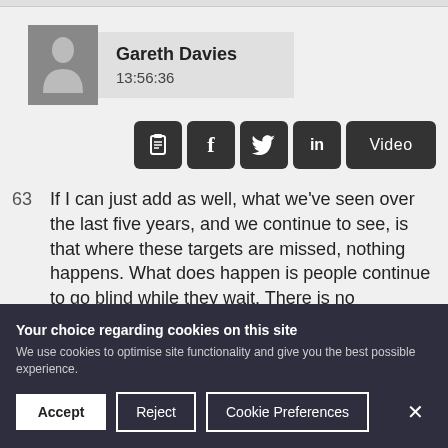[Figure (other): User profile card showing a person silhouette avatar icon on grey background with name Gareth Davies and timestamp 13:56:36]
[Figure (other): Row of social/action icon buttons: clipboard/report icon, Facebook f icon, Twitter bird icon, LinkedIn in icon, and Video button, all dark rounded squares]
63   If I can just add as well, what we've seen over the last five years, and we continue to see, is that where these targets are missed, nothing happens. What does happen is people continue to go blind while they wait. There is no
Your choice regarding cookies on this site
We use cookies to optimise site functionality and give you the best possible experience.
Accept   Reject   Cookie Preferences